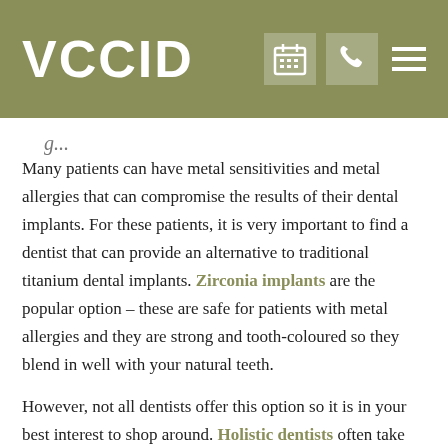VCCID
Many patients can have metal sensitivities and metal allergies that can compromise the results of their dental implants. For these patients, it is very important to find a dentist that can provide an alternative to traditional titanium dental implants. Zirconia implants are the popular option – these are safe for patients with metal allergies and they are strong and tooth-coloured so they blend in well with your natural teeth.
However, not all dentists offer this option so it is in your best interest to shop around. Holistic dentists often take this into account and provide alternative materials rather than titanium. If you are unsure whether or not you have